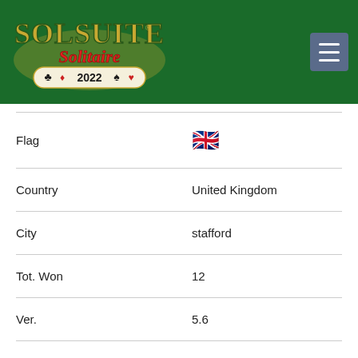[Figure (logo): SolSuite Solitaire 2022 logo on green background with menu button]
| Field | Value |
| --- | --- |
| Flag | 🇬🇧 |
| Country | United Kingdom |
| City | stafford |
| Tot. Won | 12 |
| Ver. | 5.6 |
| Date | 23 Jun 05 |